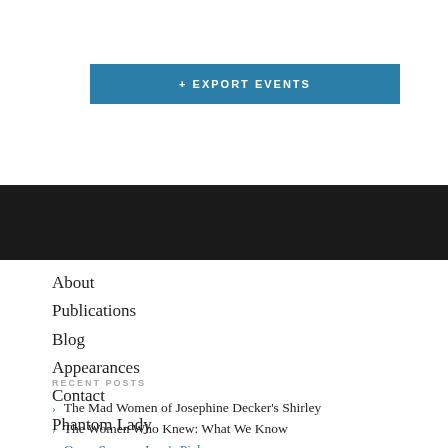+ EXPORT EVENTS
About
Publications
Blog
Appearances
Contact
Phantom Lady
RECENT POSTS
The Mad Women of Josephine Decker's Shirley
The Women Who Knew: What We Know
Oscar Season: Joan's Picks